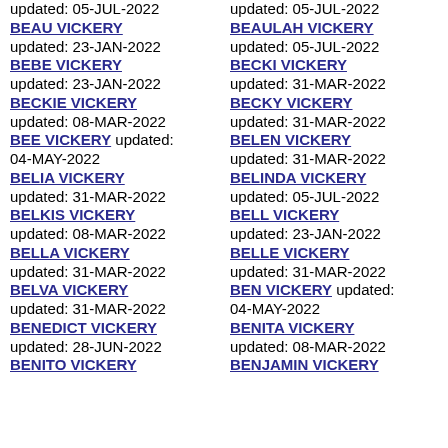BEAU VICKERY updated: 23-JAN-2022
BEBE VICKERY updated: 23-JAN-2022
BECKIE VICKERY updated: 08-MAR-2022
BEE VICKERY updated: 04-MAY-2022
BELIA VICKERY updated: 31-MAR-2022
BELKIS VICKERY updated: 08-MAR-2022
BELLA VICKERY updated: 31-MAR-2022
BELVA VICKERY updated: 31-MAR-2022
BENEDICT VICKERY updated: 28-JUN-2022
BENITO VICKERY
BEAULAH VICKERY updated: 05-JUL-2022
BECKI VICKERY updated: 31-MAR-2022
BECKY VICKERY updated: 31-MAR-2022
BELEN VICKERY updated: 31-MAR-2022
BELINDA VICKERY updated: 05-JUL-2022
BELL VICKERY updated: 23-JAN-2022
BELLE VICKERY updated: 31-MAR-2022
BEN VICKERY updated: 04-MAY-2022
BENITA VICKERY updated: 08-MAR-2022
BENJAMIN VICKERY